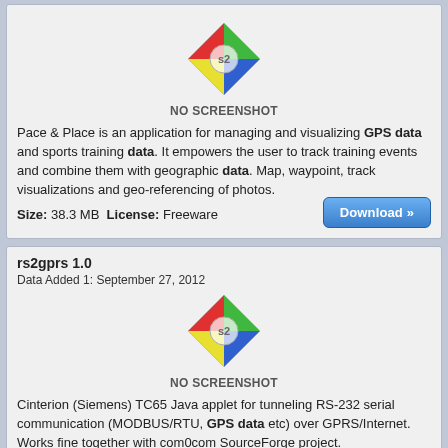[Figure (illustration): No Screenshot placeholder icon with colored quadrants (red, green, blue, yellow) and 'NO SCREENSHOT' label]
Pace & Place is an application for managing and visualizing GPS data and sports training data. It empowers the user to track training events and combine them with geographic data. Map, waypoint, track visualizations and geo-referencing of photos.
Size: 38.3 MB License: Freeware
rs2gprs 1.0
Data Added 1: September 27, 2012
[Figure (illustration): No Screenshot placeholder icon with colored quadrants (red, green, blue, yellow) and 'NO SCREENSHOT' label]
Cinterion (Siemens) TC65 Java applet for tunneling RS-232 serial communication (MODBUS/RTU, GPS data etc) over GPRS/Internet. Works fine together with com0com SourceForge project.
Size: 163.2 KB License: Freeware